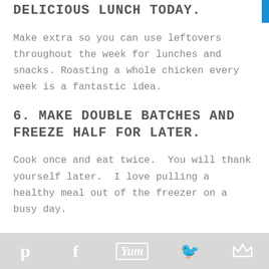DELICIOUS LUNCH TODAY.
Make extra so you can use leftovers throughout the week for lunches and snacks. Roasting a whole chicken every week is a fantastic idea.
6. MAKE DOUBLE BATCHES AND FREEZE HALF FOR LATER.
Cook once and eat twice.  You will thank yourself later.  I love pulling a healthy meal out of the freezer on a busy day.
7. KEEP A WELL STOCKED PANTRY.
Pinterest | Facebook | Yum | Twitter | Crown